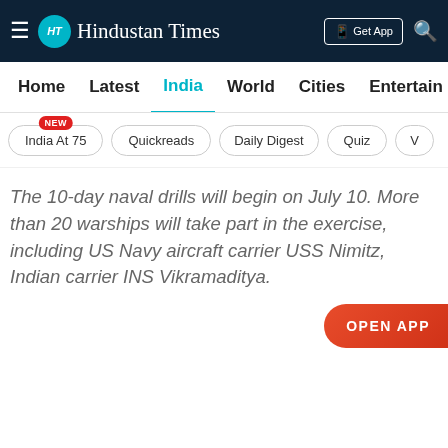Hindustan Times
Home | Latest | India | World | Cities | Entertainment
India At 75 NEW | Quickreads | Daily Digest | Quiz | V
The 10-day naval drills will begin on July 10. More than 20 warships will take part in the exercise, including US Navy aircraft carrier USS Nimitz, Indian carrier INS Vikramaditya.